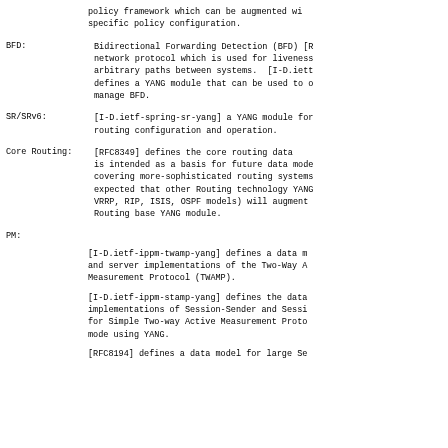policy framework which can be augmented wi...
specific policy configuration.
BFD:  Bidirectional Forwarding Detection (BFD) [R...
network protocol which is used for liveness
arbitrary paths between systems.  [I-D.iett
defines a YANG module that can be used to o
manage BFD.
SR/SRv6:  [I-D.ietf-spring-sr-yang] a YANG module for
routing configuration and operation.
Core Routing:  [RFC8349] defines the core routing data
is intended as a basis for future data mode
covering more-sophisticated routing systems
expected that other Routing technology YANG
VRRP, RIP, ISIS, OSPF models) will augment
Routing base YANG module.
PM:
[I-D.ietf-ippm-twamp-yang] defines a data m
and server implementations of the Two-Way A
Measurement Protocol (TWAMP).
[I-D.ietf-ippm-stamp-yang] defines the data
implementations of Session-Sender and Sessi
for Simple Two-way Active Measurement Proto
mode using YANG.
[RFC8194] defines a data model for large Se...